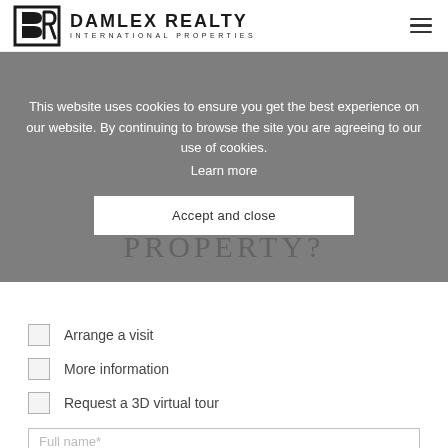DAMLEX REALTY — INTERNATIONAL PROPERTIES
This website uses cookies to ensure you get the best experience on our website. By continuing to browse the site you are agreeing to our use of cookies.
Learn more
Accept and close
PROPERTY?
Arrange a visit
More information
Request a 3D virtual tour
Full name*